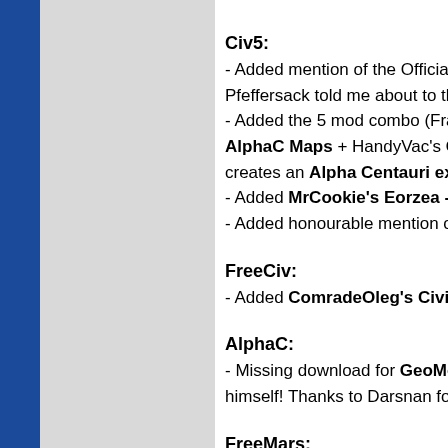Civ5:
- Added mention of the Official F... Pfeffersack told me about to the...
- Added the 5 mod combo (Fram... AlphaC Maps + HandyVac's Ce... creates an Alpha Centauri expe...
- Added MrCookie's Eorzea - Fi...
- Added honourable mention of M...
FreeCiv:
- Added ComradeOleg's Civiliza...
AlphaC:
- Missing download for GeoMod... himself! Thanks to Darsnan for fi...
FreeMars:
- Added mention of the really coo...